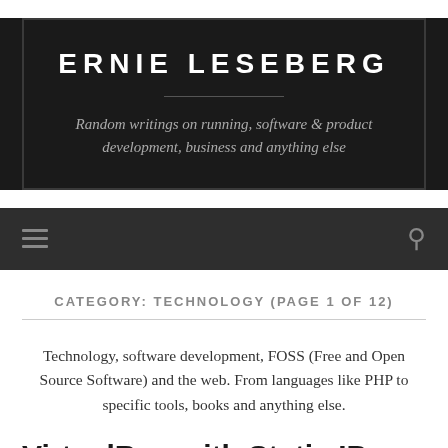ERNIE LESEBERG
Random writings on running, software & product development, business and anything else
Navigation bar with menu and search icons
CATEGORY: TECHNOLOGY (PAGE 1 OF 12)
Technology, software development, FOSS (Free and Open Source Software) and the web. From languages like PHP to specific tools, books and anything else.
VirtualBox with Static IP on